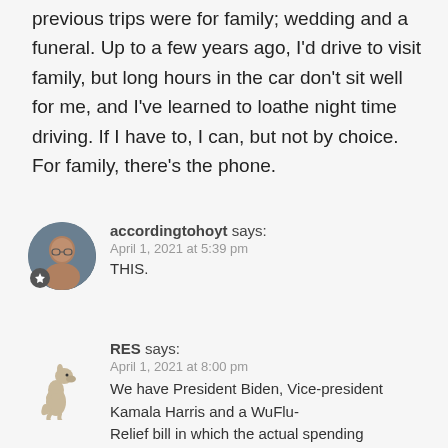previous trips were for family; wedding and a funeral. Up to a few years ago, I'd drive to visit family, but long hours in the car don't sit well for me, and I've learned to loathe night time driving. If I have to, I can, but not by choice. For family, there's the phone.
accordingtohoyt says:
April 1, 2021 at 5:39 pm
THIS.
RES says:
April 1, 2021 at 8:00 pm
We have President Biden, Vice-president Kamala Harris and a WuFlu-Relief bill in which the actual spending